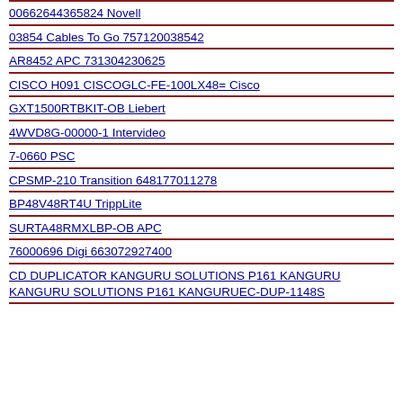00662644365824 Novell
03854 Cables To Go 757120038542
AR8452 APC 731304230625
CISCO H091 CISCOGLC-FE-100LX48= Cisco
GXT1500RTBKIT-OB Liebert
4WVD8G-00000-1 Intervideo
7-0660 PSC
CPSMP-210 Transition 648177011278
BP48V48RT4U TrippLite
SURTA48RMXLBP-OB APC
76000696 Digi 663072927400
CD DUPLICATOR KANGURU SOLUTIONS P161 KANGURU KANGURU SOLUTIONS P161 KANGURUEC-DUP-1148S